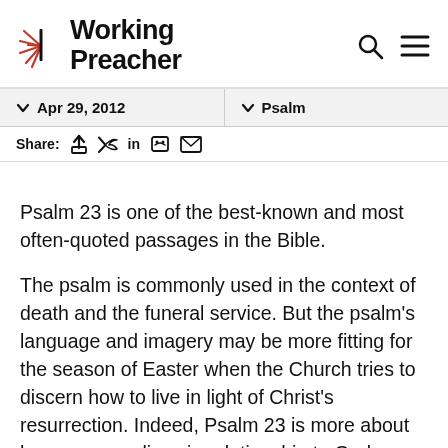Working Preacher
Apr 29, 2012   Psalm
Share:
Psalm 23 is one of the best-known and most often-quoted passages in the Bible.
The psalm is commonly used in the context of death and the funeral service. But the psalm's language and imagery may be more fitting for the season of Easter when the Church tries to discern how to live in light of Christ's resurrection. Indeed, Psalm 23 is more about how a person lives in relationship to God